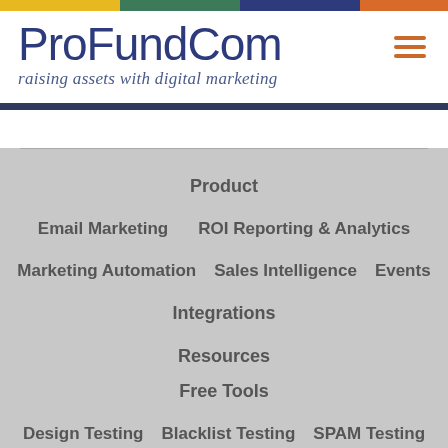[Figure (logo): ProFundCom logo with colorful top bar and tagline 'raising assets with digital marketing']
Product
Email Marketing
ROI Reporting & Analytics
Marketing Automation
Sales Intelligence
Events
Integrations
Resources
Free Tools
Design Testing
Blacklist Testing
SPAM Testing
Compliance Testing